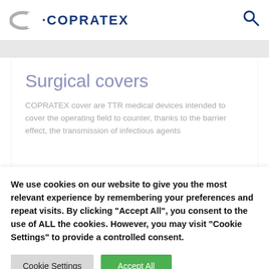[Figure (logo): COPRATEX logo with gray oval C shape and dark blue dot-COPRATEX text]
Surgical covers
COPRATEX cover are TTR medical devices intended to cover the operating field to counter, thanks to the barrier effect, the transmission of infectious agents
We use cookies on our website to give you the most relevant experience by remembering your preferences and repeat visits. By clicking "Accept All", you consent to the use of ALL the cookies. However, you may visit "Cookie Settings" to provide a controlled consent.
Cookie Settings | Accept All